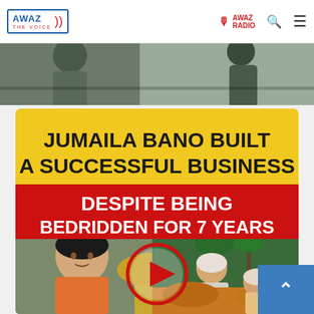AWAZ THE VOICE — navigation bar with logo, AWAZ RADIO label, search icon, and menu icon
[Figure (photo): Partial top image strip showing a person in an outdoor scene, cropped at the top of the page]
[Figure (other): Thumbnail image for a news story about Jumaila Bano. Yellow/green background with bold text reading: JUMAILA BANO BUILT A SUCCESSFUL BUSINESS DESPITE BEING BEDRIDDEN FOR 7 YEARS. Below the text is a photo collage showing a woman smiling, agricultural crops/turmeric, a man in a field, and a red circular play button overlay in the center.]